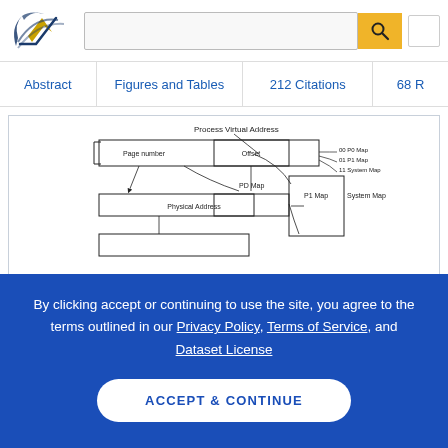[Figure (logo): Semantic Scholar logo with stylized S mark in navy/gold]
Abstract | Figures and Tables | 212 Citations | 68 R
[Figure (schematic): Engineering diagram showing Process Virtual Address mapping with Page number, Offset boxes, PD Map, P1 Map, Physical Address, and System Map labels with arrows]
By clicking accept or continuing to use the site, you agree to the terms outlined in our Privacy Policy, Terms of Service, and Dataset License
ACCEPT & CONTINUE